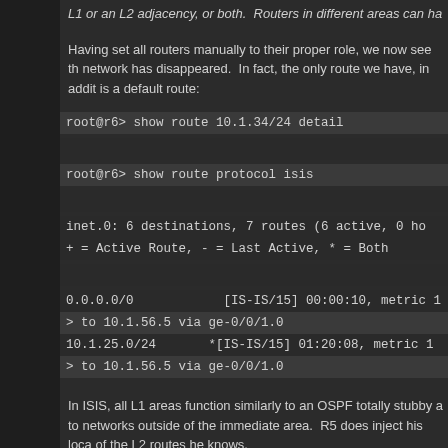L1 or an L2 adjacency, or both. Routers in different areas can ha
Having set all routers manually to their proper role, we now see th network has disappeared. In fact, the only route we have, in addit is a default route:
[Figure (screenshot): Terminal/CLI output showing ISIS routing commands and route table entries on dark background: 'root@r6> show route 10.1.34/24 detail', 'root@r6> show route protocol isis', 'inet.0: 6 destinations, 7 routes (6 active, 0 ho..', '+ = Active Route, - = Last Active, * = Both', '0.0.0.0/0  [IS-IS/15] 00:00:10, metric 1', '> to 10.1.56.5 via ge-0/0/1.0', '10.1.25.0/24  *[IS-IS/15] 01:20:08, metric 1', '> to 10.1.56.5 via ge-0/0/1.0']
In ISIS, all L1 areas function similarly to an OSPF totally stubby a to networks outside of the immediate area. R5 does inject his loca of the L2 routes he knows.